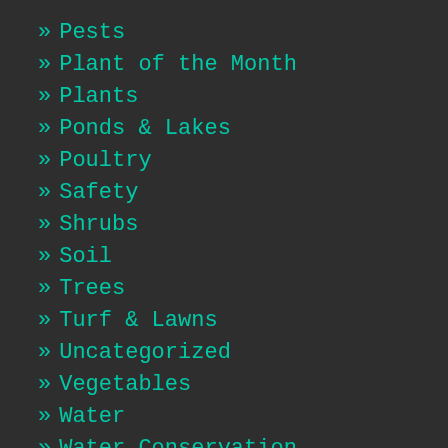» Pests
» Plant of the Month
» Plants
» Ponds & Lakes
» Poultry
» Safety
» Shrubs
» Soil
» Trees
» Turf & Lawns
» Uncategorized
» Vegetables
» Water
» Water Conservation